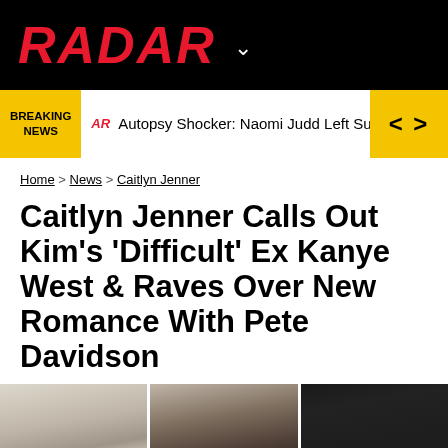RADAR
BREAKING NEWS  Autopsy Shocker: Naomi Judd Left Suicide Note Near Her
Home > News > Caitlyn Jenner
Caitlyn Jenner Calls Out Kim's 'Difficult' Ex Kanye West & Raves Over New Romance With Pete Davidson
[Figure (photo): Three photos side by side: Caitlyn Jenner (left), Kanye West (center), Pete Davidson (right)]